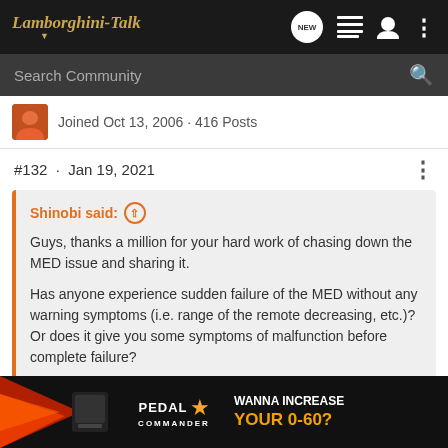Lamborghini-Talk
Search Community
Joined Oct 13, 2006 · 416 Posts
#132 · Jan 19, 2021
Shinobi said: ↑
Guys, thanks a million for your hard work of chasing down the MED issue and sharing it.

Has anyone experience sudden failure of the MED without any warning symptoms (i.e. range of the remote decreasing, etc.)? Or does it give you some symptoms of malfunction before complete failure?
When mine failed in my '02 there was no indication it was coming. ... We're one day and
[Figure (screenshot): Pedal Commander advertisement banner: WANNA INCREASE YOUR 0-60?]